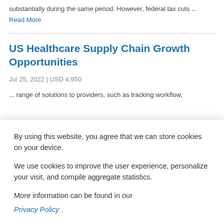substantially during the same period. However, federal tax cuts ...
Read More
US Healthcare Supply Chain Growth Opportunities
Jul 25, 2022 | USD 4,950
... range of solutions to providers, such as tracking workflow,
By using this website, you agree that we can store cookies on your device.
We use cookies to improve the user experience, personalize your visit, and compile aggregate statistics.
More information can be found in our Privacy Policy .